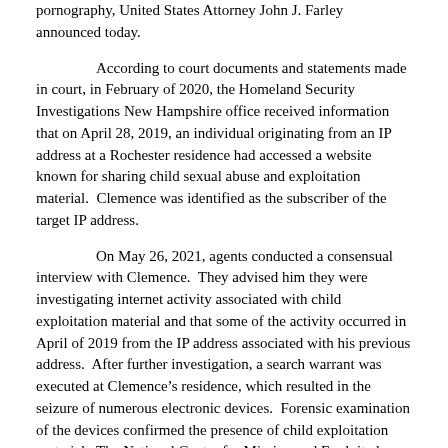pornography, United States Attorney John J. Farley announced today.
According to court documents and statements made in court, in February of 2020, the Homeland Security Investigations New Hampshire office received information that on April 28, 2019, an individual originating from an IP address at a Rochester residence had accessed a website known for sharing child sexual abuse and exploitation material.  Clemence was identified as the subscriber of the target IP address.
On May 26, 2021, agents conducted a consensual interview with Clemence.  They advised him they were investigating internet activity associated with child exploitation material and that some of the activity occurred in April of 2019 from the IP address associated with his previous address.  After further investigation, a search warrant was executed at Clemence’s residence, which resulted in the seizure of numerous electronic devices.  Forensic examination of the devices confirmed the presence of child exploitation material.  The National Center for Missing and Exploited Children identified 1,351 images as depicting known minor victims.  It was determined by law enforcement that no other household members were involved in Clemence’s criminal activity.
Clemence previously pleaded guilty on December 7, 2021. In addition, his sentence. Clemence was ordered to pay $75,000 in...